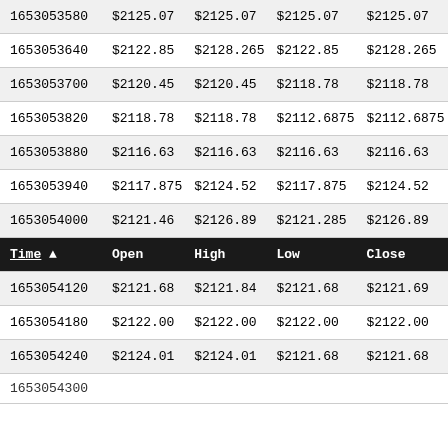| Time | Open | High | Low | Close |
| --- | --- | --- | --- | --- |
| 1653053580 | $2125.07 | $2125.07 | $2125.07 | $2125.07 |
| 1653053640 | $2122.85 | $2128.265 | $2122.85 | $2128.265 |
| 1653053700 | $2120.45 | $2120.45 | $2118.78 | $2118.78 |
| 1653053820 | $2118.78 | $2118.78 | $2112.6875 | $2112.6875 |
| 1653053880 | $2116.63 | $2116.63 | $2116.63 | $2116.63 |
| 1653053940 | $2117.875 | $2124.52 | $2117.875 | $2124.52 |
| 1653054000 | $2121.46 | $2126.89 | $2121.285 | $2126.89 |
| 1653054120 | $2121.68 | $2121.84 | $2121.68 | $2121.69 |
| 1653054180 | $2122.00 | $2122.00 | $2122.00 | $2122.00 |
| 1653054240 | $2124.01 | $2124.01 | $2121.68 | $2121.68 |